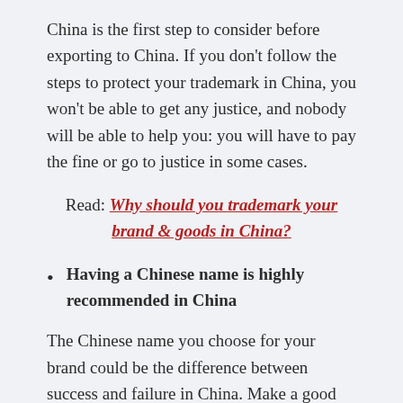China is the first step to consider before exporting to China. If you don't follow the steps to protect your trademark in China, you won't be able to get any justice, and nobody will be able to help you: you will have to pay the fine or go to justice in some cases.
Read: Why should you trademark your brand & goods in China?
Having a Chinese name is highly recommended in China
The Chinese name you choose for your brand could be the difference between success and failure in China. Make a good first impression by choosing an appropriate, creative, and engaging name that will